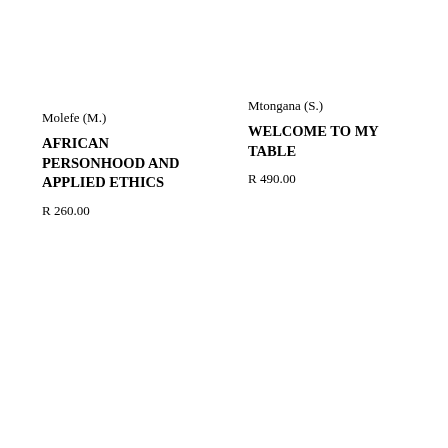Molefe (M.)
AFRICAN PERSONHOOD AND APPLIED ETHICS
R 260.00
Mtongana (S.)
WELCOME TO MY TABLE
R 490.00